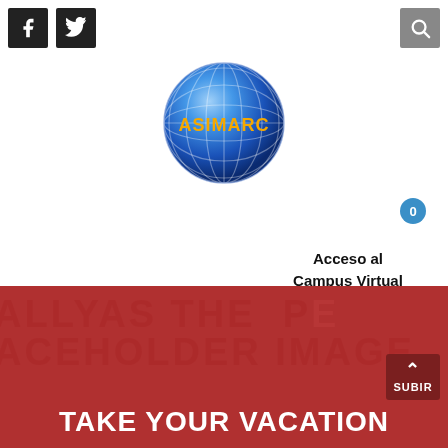[Figure (logo): Social media icons: Facebook (black square with F) and Twitter (black square with bird)]
[Figure (logo): Search icon (gray square with magnifying glass)]
[Figure (logo): ASIMARC globe logo - blue sphere with grid lines and orange ASIMARC text overlaid]
0
Acceso al Campus Virtual
[Figure (photo): Hero banner with dark red background, placeholder image text watermark reading ALLYAS THE PLACEHOLDER IMAGE, with TAKE YOUR VACATION text at bottom]
TAKE YOUR VACATION
SUBIR